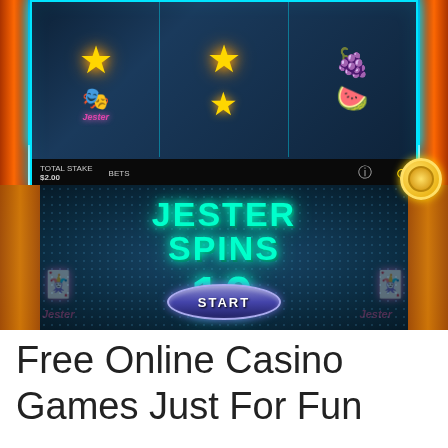[Figure (screenshot): Screenshot of a casino slot machine game called 'Jester Spins'. The top portion shows slot machine reels with gold star symbols, a jester hat symbol, grapes, and watermelon symbols. The bottom portion shows a bonus screen with cyan/teal neon text reading 'JESTER SPINS' and the number '10', with a START button at the bottom. Orange decorative side panels and neon blue borders frame the game area.]
Free Online Casino Games Just For Fun